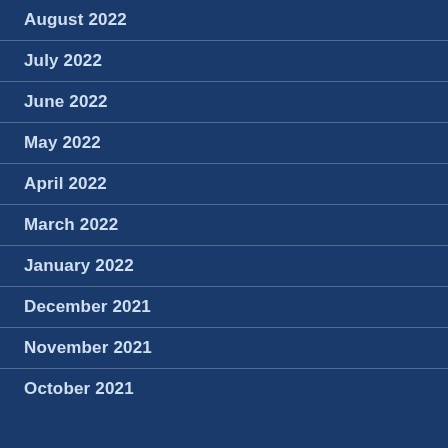August 2022
July 2022
June 2022
May 2022
April 2022
March 2022
January 2022
December 2021
November 2021
October 2021